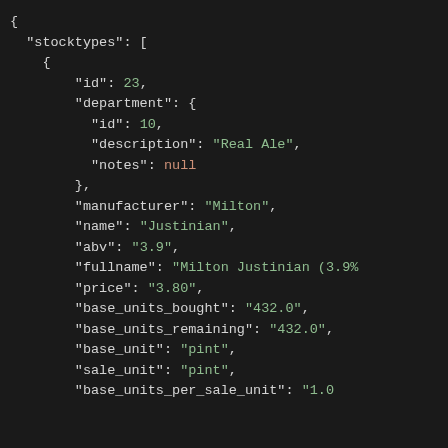JSON code block showing stocktypes array with department object and product fields